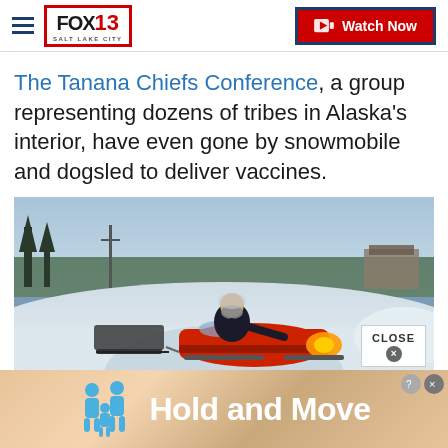FOX 13 SALT LAKE CITY — Watch Now
The Tanana Chiefs Conference, a group representing dozens of tribes in Alaska's interior, have even gone by snowmobile and dogsled to deliver vaccines.
[Figure (photo): Person on a red snowmobile pulling a sled through a snowy Alaska landscape with trees and buildings in the background. Person is wearing dark winter clothing and a mask.]
[Figure (screenshot): Ad banner at the bottom showing blue human figures icons and the text 'Hold and Move']